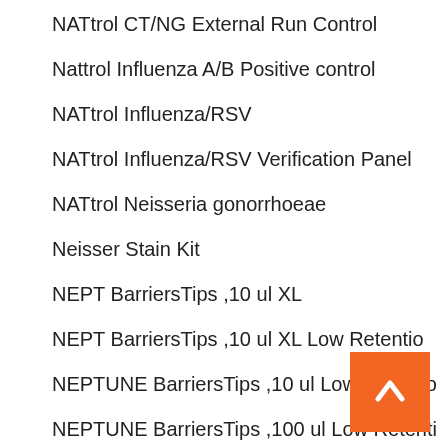NATtrol CT/NG External Run Control
Nattrol Influenza A/B Positive control
NATtrol Influenza/RSV
NATtrol Influenza/RSV Verification Panel
NATtrol Neisseria gonorrhoeae
Neisser Stain Kit
NEPT BarriersTips ,10 ul XL
NEPT BarriersTips ,10 ul XL Low Retentio
NEPTUNE BarriersTips ,10 ul Low Retentio
NEPTUNE BarriersTips ,100 ul Low Retenti
NEPTUNE BarriersTips ,20 ul Low Retentio
NEPTUNE BarriersTips ,200ul Low Retentio